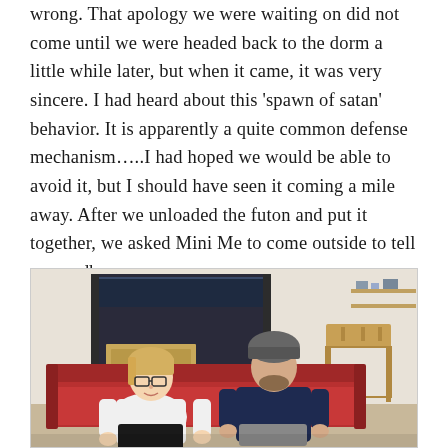wrong.  That apology we were waiting on did not come until we were headed back to the dorm a little while later, but when it came, it was very sincere.  I had heard about this ‘spawn of satan’ behavior.  It is apparently a quite common defense mechanism….I had hoped we would be able to avoid it, but I should have seen it coming a mile away.  After we unloaded the futon and put it together, we asked Mini Me to come outside to tell us goodbye.
[Figure (photo): Two young people sitting on a red futon/couch in a dorm room. On the left, a person with short blonde hair and glasses wearing a white t-shirt. On the right, a person wearing a dark navy blue shirt and a grey beanie hat, wearing shorts. Behind them is a lofted bed with dark bedding, and to the right is a wooden chair. The room appears to be a college dorm.]